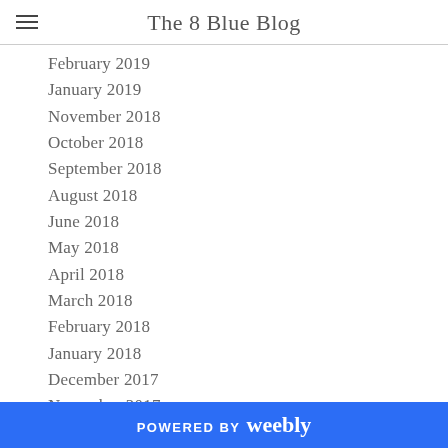The 8 Blue Blog
February 2019
January 2019
November 2018
October 2018
September 2018
August 2018
June 2018
May 2018
April 2018
March 2018
February 2018
January 2018
December 2017
November 2017
October 2017
September 2017
August 2017
POWERED BY weebly